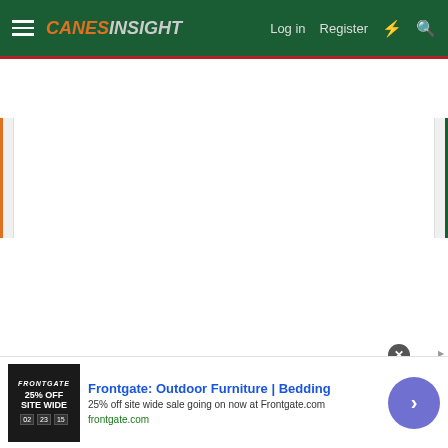CanesInsight — Log in  Register
[Figure (screenshot): Main content area of CanesInsight website, mostly white/blank with orange left tab accent and green right tab accent]
[Figure (infographic): Advertisement for Frontgate: Outdoor Furniture | Bedding. 25% off site wide sale going on now at Frontgate.com. frontgate.com]